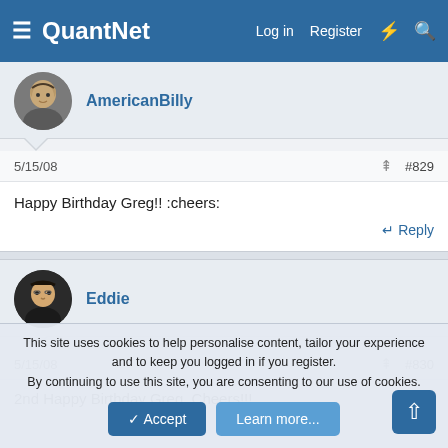QuantNet — Log in  Register
AmericanBilly
5/15/08  #829
Happy Birthday Greg!! :cheers:
Reply
Eddie
5/15/08  #830
2nd Happy Birthday Greg. Cheers!!!
This site uses cookies to help personalise content, tailor your experience and to keep you logged in if you register. By continuing to use this site, you are consenting to our use of cookies.